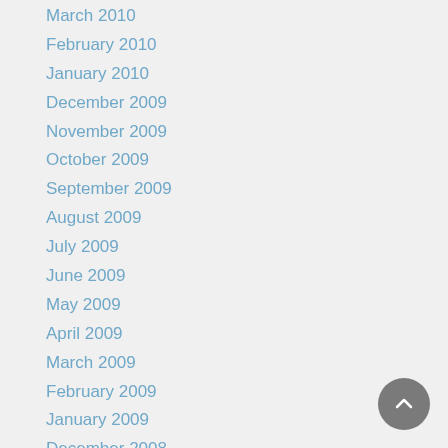March 2010
February 2010
January 2010
December 2009
November 2009
October 2009
September 2009
August 2009
July 2009
June 2009
May 2009
April 2009
March 2009
February 2009
January 2009
December 2008
November 2008
October 2008
September 2008